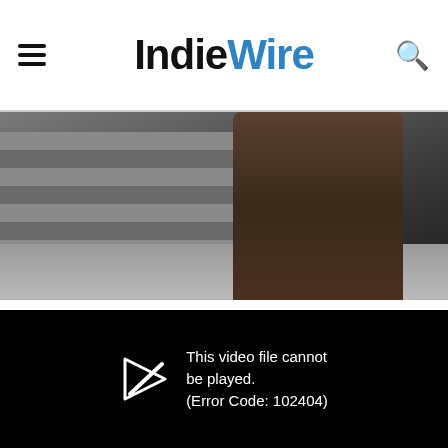IndieWire
[Figure (photo): A person wearing a brown jacket walking on steps or pavement, viewed from behind, in an urban setting.]
[Figure (screenshot): A black video player area showing an error message with a play icon crossed out and the text: This video file cannot be played. (Error Code: 102404)]